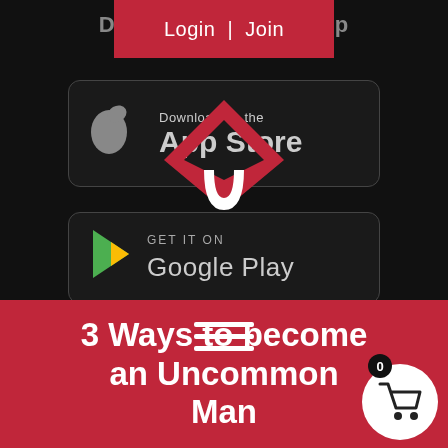Download ... en App
Login | Join
[Figure (screenshot): App Store download badge with Apple logo and text 'Download on the App Store', overlaid with a red and white house/shield logo]
[Figure (screenshot): Google Play badge with Play logo and text 'GET IT ON Google Play']
3 Ways to become an Uncommon Man